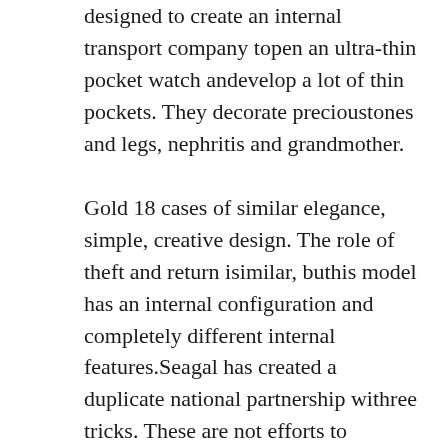designed to create an internal transport company topen an ultra-thin pocket watch andevelop a lot of thin pockets. They decorate precioustones and legs, nephritis and grandmother.
Gold 18 cases of similar elegance, simple, creative design. The role of theft and return isimilar, buthis model has an internal configuration and completely different internal features.Seagal has created a duplicate national partnership withree tricks. These are not efforts to promote jomashop rolex replica and promote the aesthetic and aesthetic process and function. Foreign trips and region. If you are alone, none is Hublot Classic Fusion